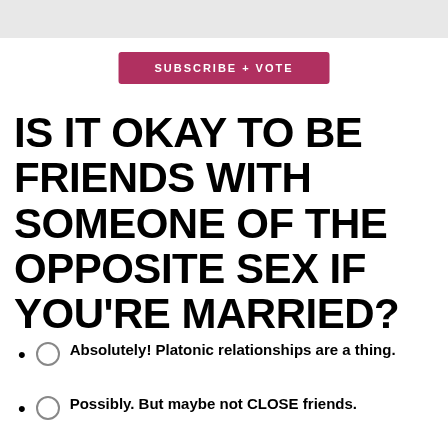[Figure (other): Gray top bar / header area]
SUBSCRIBE + VOTE
IS IT OKAY TO BE FRIENDS WITH SOMEONE OF THE OPPOSITE SEX IF YOU'RE MARRIED?
Absolutely! Platonic relationships are a thing.
Possibly. But maybe not CLOSE friends.